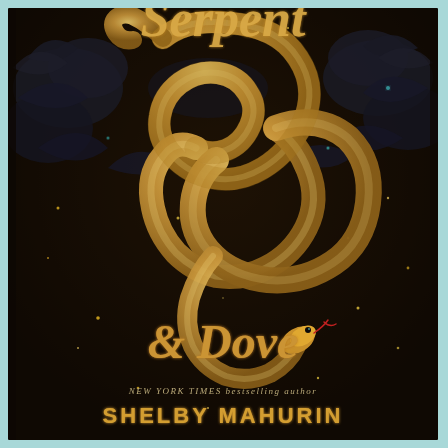[Figure (illustration): Book cover of 'Serpent & Dove' by Shelby Mahurin. Dark background with black roses and dark foliage. A large gold metallic snake coils in an S-shape forming an ornate ampersand design at the center. Gold glittering script title 'Serpent & Dove' at top and center. Text reads 'NEW YORK TIMES bestselling author' above the author name 'SHELBY MAHURIN' in large gold letters at the bottom.]